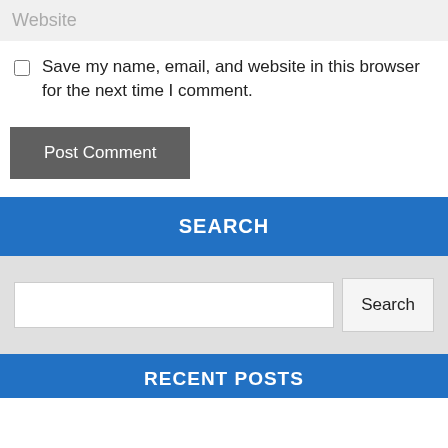Website
Save my name, email, and website in this browser for the next time I comment.
Post Comment
SEARCH
Search
RECENT POSTS